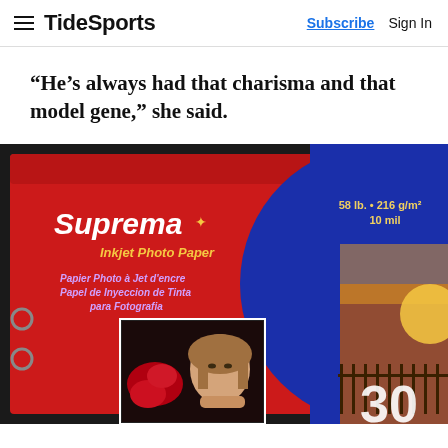TideSports — Subscribe | Sign In
“He’s always had that charisma and that model gene,” she said.
[Figure (photo): Photo of a Suprema Inkjet Photo Paper box (red and blue packaging, 58 lb., 216 g/m², 10 mil, 30 sheets) with a photo of a young woman resting her face on her hands next to a red rose on the cover of the package.]